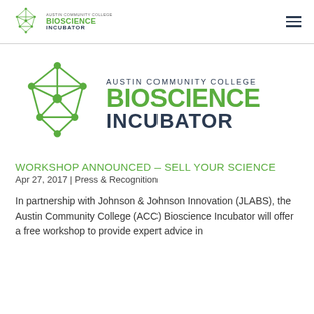[Figure (logo): Austin Community College Bioscience Incubator logo in header — geometric green polyhedron with text]
[Figure (logo): Austin Community College Bioscience Incubator large logo — large geometric green polyhedron SVG with 'AUSTIN COMMUNITY COLLEGE', 'BIOSCIENCE', 'INCUBATOR' text]
WORKSHOP ANNOUNCED – SELL YOUR SCIENCE
Apr 27, 2017 | Press & Recognition
In partnership with Johnson & Johnson Innovation (JLABS), the Austin Community College (ACC) Bioscience Incubator will offer a free workshop to provide expert advice in